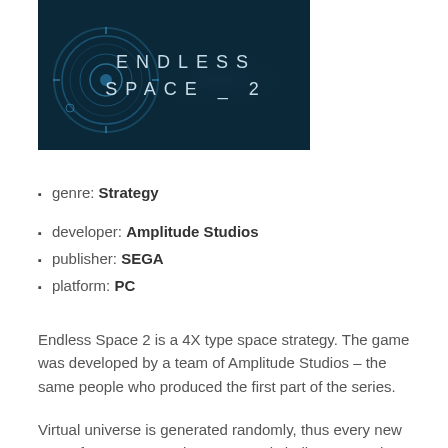[Figure (screenshot): Endless Space 2 game logo on dark blue background with circular graphic design elements and spaced-out letter typography reading ENDLESS SPACE _ 2]
genre: Strategy
developer: Amplitude Studios
publisher: SEGA
platform: PC
Endless Space 2 is a 4X type space strategy. The game was developed by a team of Amplitude Studios – the same people who produced the first part of the series.
Virtual universe is generated randomly, thus every new game features new adventures and challenges. Both the combat, and development side of the game are based on a turn system. During the game, the player has to explore the universe, seize the control over planets, organize a healthy economy, establish